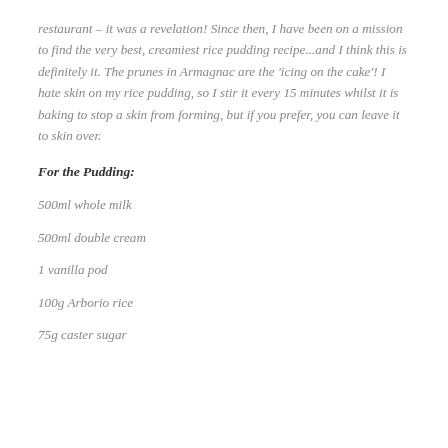restaurant – it was a revelation! Since then, I have been on a mission to find the very best, creamiest rice pudding recipe...and I think this is definitely it. The prunes in Armagnac are the 'icing on the cake'! I hate skin on my rice pudding, so I stir it every 15 minutes whilst it is baking to stop a skin from forming, but if you prefer, you can leave it to skin over.
For the Pudding:
500ml whole milk
500ml double cream
1 vanilla pod
100g Arborio rice
75g caster sugar